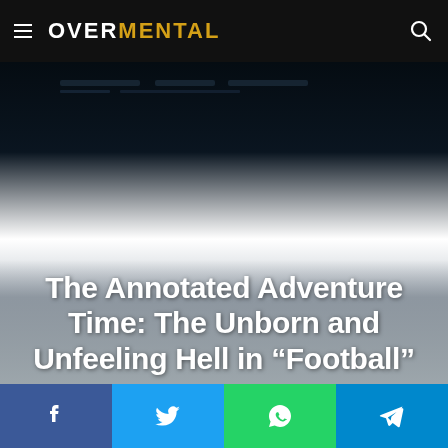OVERMENTAL
[Figure (photo): Dark cinematic background image fading from dark at top to grey/white mist, used as hero image behind article title]
The Annotated Adventure Time: The Unborn and Unfeeling Hell in “Football”
[Figure (other): Social share bar with Facebook, Twitter, WhatsApp, and Telegram buttons]